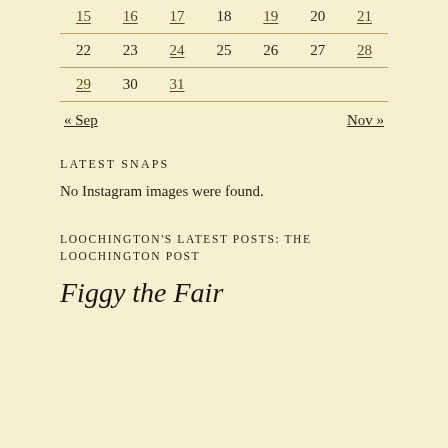| 15 | 16 | 17 | 18 | 19 | 20 | 21 |
| 22 | 23 | 24 | 25 | 26 | 27 | 28 |
| 29 | 30 | 31 |  |  |  |  |
« Sep    Nov »
LATEST SNAPS
No Instagram images were found.
LOOCHINGTON'S LATEST POSTS: THE LOOCHINGTON POST
Figgy the Fair